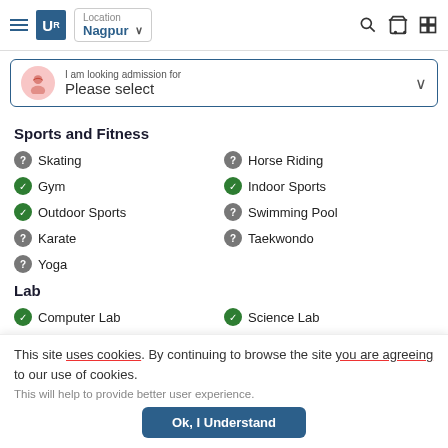[Figure (screenshot): Website header with hamburger menu, UR logo, Nagpur location dropdown, search icon, cart icon, and grid icon]
[Figure (screenshot): Admission selector bar with avatar icon, 'I am looking admission for' label, 'Please select' placeholder, and chevron]
Sports and Fitness
Skating
Horse Riding
Gym
Indoor Sports
Outdoor Sports
Swimming Pool
Karate
Taekwondo
Yoga
Lab
Computer Lab
Science Lab
Robotics Lab
This site uses cookies. By continuing to browse the site you are agreeing to our use of cookies.
This will help to provide better user experience.